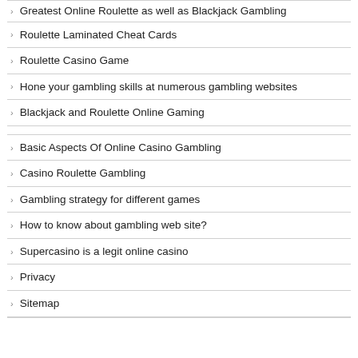Greatest Online Roulette as well as Blackjack Gambling
Roulette Laminated Cheat Cards
Roulette Casino Game
Hone your gambling skills at numerous gambling websites
Blackjack and Roulette Online Gaming
Basic Aspects Of Online Casino Gambling
Casino Roulette Gambling
Gambling strategy for different games
How to know about gambling web site?
Supercasino is a legit online casino
Privacy
Sitemap